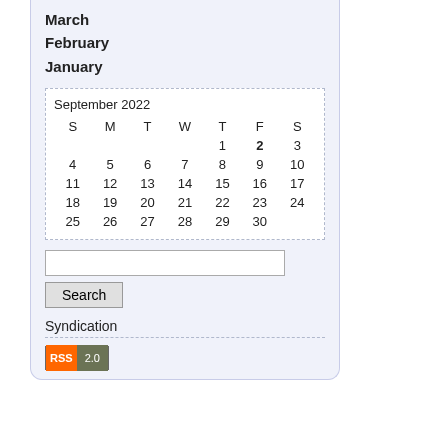March
February
January
| S | M | T | W | T | F | S |
| --- | --- | --- | --- | --- | --- | --- |
|  |  |  |  | 1 | 2 | 3 |
| 4 | 5 | 6 | 7 | 8 | 9 | 10 |
| 11 | 12 | 13 | 14 | 15 | 16 | 17 |
| 18 | 19 | 20 | 21 | 22 | 23 | 24 |
| 25 | 26 | 27 | 28 | 29 | 30 |  |
Search
Syndication
[Figure (other): RSS 2.0 badge]